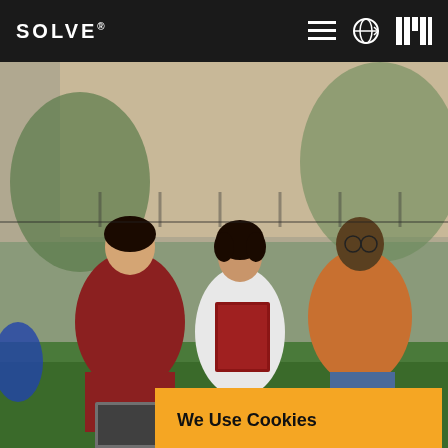SOLVE® [navigation icons]
[Figure (photo): Three students sitting outdoors on grass, studying together with laptops and books. One wearing a red hoodie using a laptop, one in white holding a book, one in orange jacket with glasses.]
PRI... Ina... Ch...
Sep...
We Use Cookies
We use cookies and other tracking technologies to improve your browsing experience on our website and to understand where our visitors are coming from. By browsing our website, you consent to our use of cookies and other tracking technologies.
ACCEPT
REJECT